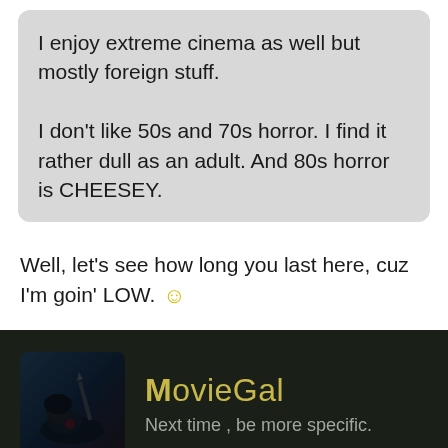I enjoy extreme cinema as well but mostly foreign stuff.

I don't like 50s and 70s horror. I find it rather dull as an adult. And 80s horror is CHEESEY.
Well, let's see how long you last here, cuz I'm goin' LOW. 🙂
[Figure (photo): User avatar thumbnail showing a dark horror movie scene with a figure]
MovieGal
Next time , be more specific.